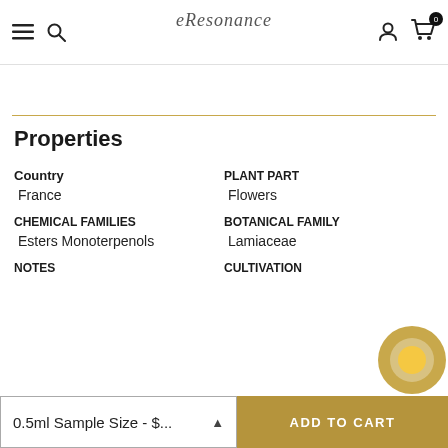eResonance
Properties
|  |  |
| --- | --- |
| Country | PLANT PART |
| France | Flowers |
| CHEMICAL FAMILIES | BOTANICAL FAMILY |
| Esters Monoterpenols | Lamiaceae |
| NOTES | CULTIVATION |
0.5ml Sample Size - $...
ADD TO CART